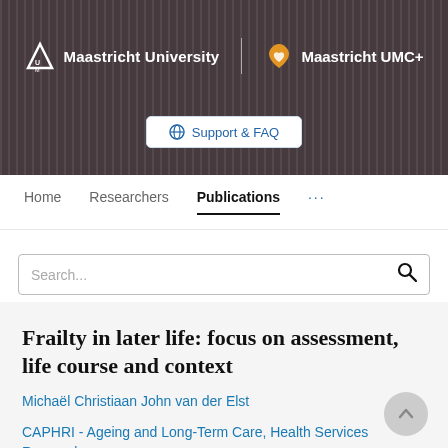[Figure (screenshot): University website header with background photo of people in red robes walking, showing Maastricht University and Maastricht UMC+ logos in white on dark overlay, with a Support & FAQ button]
Maastricht University | Maastricht UMC+
Support & FAQ
Home   Researchers   Publications   ...
Search...
Frailty in later life: focus on assessment, life course and context
Michaël Christiaan John van der Elst
CAPHRI - Ageing and Long-Term Care, Health Services Research